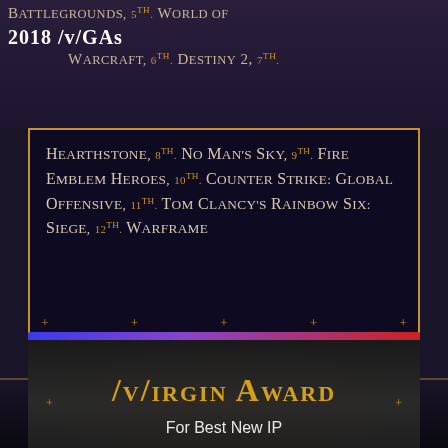Battlegrounds, 5th. World of Warcraft, 6th. Destiny 2, 7th. 2018 /v/GAs
Hearthstone, 8th. No Man's Sky, 9th. Fire Emblem Heroes, 10th. Counter Strike: Global Offensive, 11th. Tom Clancy's Rainbow Six: Siege, 12th. Warframe
/v/irgin Award
For Best New IP